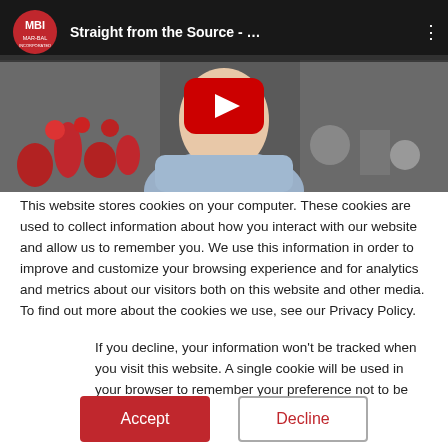[Figure (screenshot): YouTube video thumbnail showing a man in a blue shirt sitting in front of red objects on shelves. Video title: 'Straight from the Source - ...' with MBI Mar-Bal logo in top-left corner and a red YouTube play button in the center.]
This website stores cookies on your computer. These cookies are used to collect information about how you interact with our website and allow us to remember you. We use this information in order to improve and customize your browsing experience and for analytics and metrics about our visitors both on this website and other media. To find out more about the cookies we use, see our Privacy Policy.
If you decline, your information won't be tracked when you visit this website. A single cookie will be used in your browser to remember your preference not to be tracked.